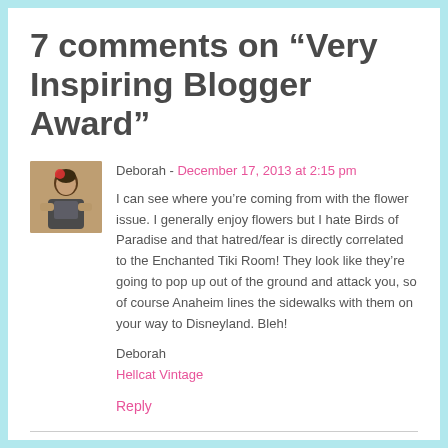7 comments on “Very Inspiring Blogger Award”
[Figure (photo): Avatar photo of Deborah, a person seated, wearing a red hair accessory, square thumbnail image]
Deborah - December 17, 2013 at 2:15 pm
I can see where you’re coming from with the flower issue. I generally enjoy flowers but I hate Birds of Paradise and that hatred/fear is directly correlated to the Enchanted Tiki Room! They look like they’re going to pop up out of the ground and attack you, so of course Anaheim lines the sidewalks with them on your way to Disneyland. Bleh!
Deborah
Hellcat Vintage
Reply